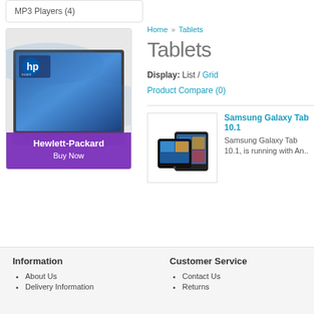MP3 Players (4)
[Figure (illustration): Hewlett-Packard laptop advertisement banner with HP logo, laptop image, purple overlay showing 'Hewlett-Packard Buy Now']
Home » Tablets
Tablets
Display: List / Grid
Product Compare (0)
[Figure (photo): Samsung Galaxy Tab 10.1 product image showing two views of the tablet]
Samsung Galaxy Tab 10.1
Samsung Galaxy Tab 10.1, is running with An..
Information
About Us
Delivery Information
Customer Service
Contact Us
Returns